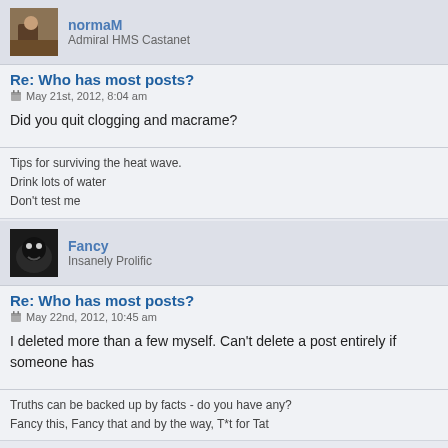normaM / Admiral HMS Castanet
Re: Who has most posts?
May 21st, 2012, 8:04 am
Did you quit clogging and macrame?
Tips for surviving the heat wave.
Drink lots of water
Don't test me
Fancy / Insanely Prolific
Re: Who has most posts?
May 22nd, 2012, 10:45 am
I deleted more than a few myself. Can't delete a post entirely if someone has
Truths can be backed up by facts - do you have any?
Fancy this, Fancy that and by the way, T*t for Tat